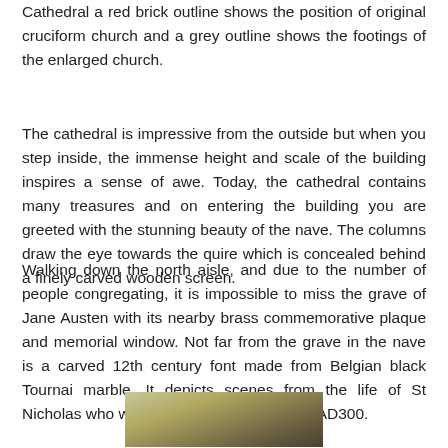Cathedral a red brick outline shows the position of original cruciform church and a grey outline shows the footings of the enlarged church.
The cathedral is impressive from the outside but when you step inside, the immense height and scale of the building inspires a sense of awe. Today, the cathedral contains many treasures and on entering the building you are greeted with the stunning beauty of the nave. The columns draw the eye towards the quire which is concealed behind a finely carved wooden screen.
Walking down the north aisle, and due to the number of people congregating, it is impossible to miss the grave of Jane Austen with its nearby brass commemorative plaque and memorial window. Not far from the grave in the nave is a carved 12th century font made from Belgian black Tournai marble. It depicts scenes from the life of St Nicholas who was Bishop of Myra in about AD300.
[Figure (photo): Partial photograph showing a golden-brown stone surface, likely depicting the carved 12th century Tournai marble font or cathedral interior detail.]